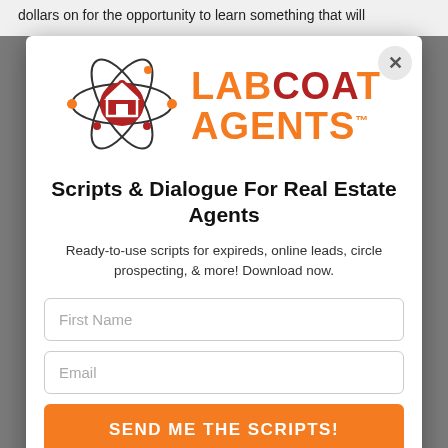dollars on for the opportunity to learn something that will
[Figure (logo): Labcoat Agents logo with atom/orbital graphic around a house icon, orange and dark red colors]
Scripts & Dialogue For Real Estate Agents
Ready-to-use scripts for expireds, online leads, circle prospecting, & more! Download now.
First Name
Email
SEND ME THE SCRIPTS!